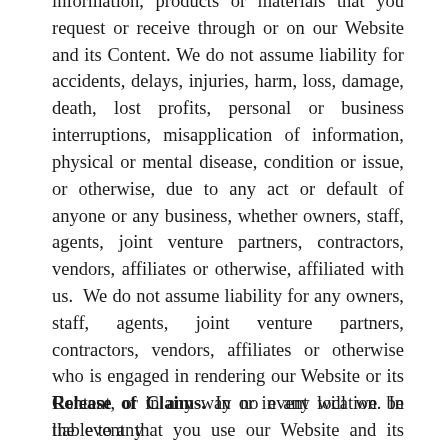information, products or materials that you request or receive through or on our Website and its Content. We do not assume liability for accidents, delays, injuries, harm, loss, damage, death, lost profits, personal or business interruptions, misapplication of information, physical or mental disease, condition or issue, or otherwise, due to any act or default of anyone or any business, whether owners, staff, agents, joint venture partners, contractors, vendors, affiliates or otherwise, affiliated with us.  We do not assume liability for any owners, staff, agents, joint venture partners, contractors, vendors, affiliates or otherwise who is engaged in rendering our Website or its Content, or in any way or in any location. In the event that you use our Website and its Content or any other information provided by us or affiliated with us, we assume no responsibility, unless otherwise provided by law.
Release of Claims. In no event will we be liable to any